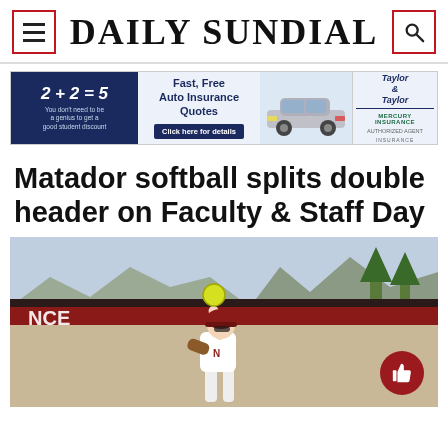DAILY SUNDIAL
[Figure (screenshot): Auto insurance advertisement banner: '2+2=5 You don't need to be a genius to get a good student discount. Fast, Free Auto Insurance Quotes. Click here for details.' with car image and Mercury Insurance / Taylor & Taylor logos.]
Matador softball splits double header on Faculty & Staff Day
[Figure (photo): A softball pitcher in a white CSUN uniform mid-windup, holding a yellow softball above her head, on an outdoor softball field. Red grandstands and mountains visible in the background.]